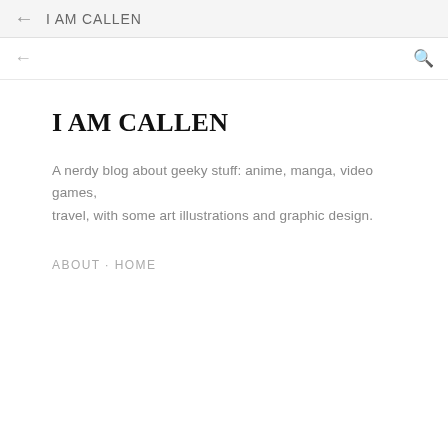← I AM CALLEN
I AM CALLEN
A nerdy blog about geeky stuff: anime, manga, video games, travel, with some art illustrations and graphic design.
ABOUT · HOME